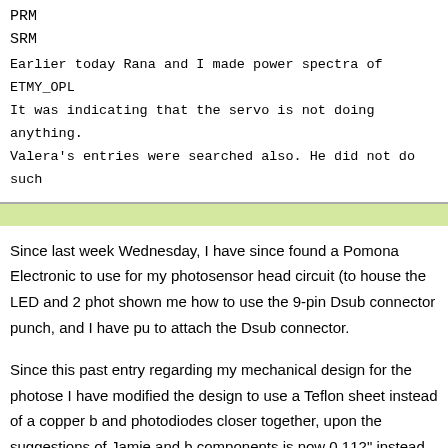PRM
SRM
Earlier today Rana and I made power spectra of ETMY_OPL
It was indicating that the servo is not doing anything.
Valera's entries were searched also. He did not do such
Since last week Wednesday, I have since found a Pomona Electronic to use for my photosensor head circuit (to house the LED and 2 phot shown me how to use the 9-pin Dsub connector punch, and I have pu to attach the Dsub connector.
Since this past entry regarding my mechanical design for the photose I have modified the design to use a Teflon sheet instead of a copper b and photodiodes closer together, upon the suggestions of Jamie and b components is now 0.112" instead of the initial 0.28". Last night, I